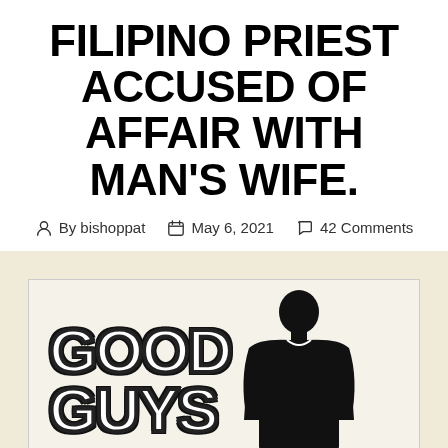FILIPINO PRIEST ACCUSED OF AFFAIR WITH MAN'S WIFE.
By bishoppat  May 6, 2021  42 Comments
[Figure (illustration): Illustration showing 'GOOD GUYS' graffiti-style text on the left and a black silhouette of a large figure on the right, on a light beige background.]